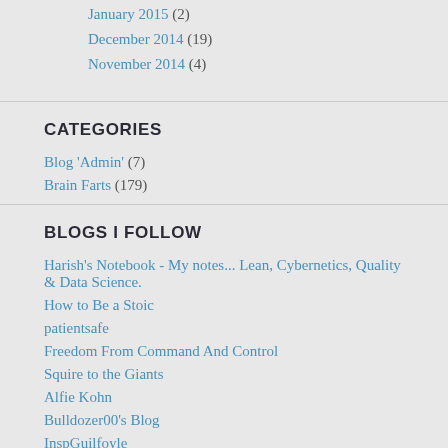January 2015 (2)
December 2014 (19)
November 2014 (4)
CATEGORIES
Blog 'Admin' (7)
Brain Farts (179)
BLOGS I FOLLOW
Harish's Notebook - My notes... Lean, Cybernetics, Quality & Data Science.
How to Be a Stoic
patientsafe
Freedom From Command And Control
Squire to the Giants
Alfie Kohn
Bulldozer00's Blog
InspGuilfoyle
The Lean Thinker